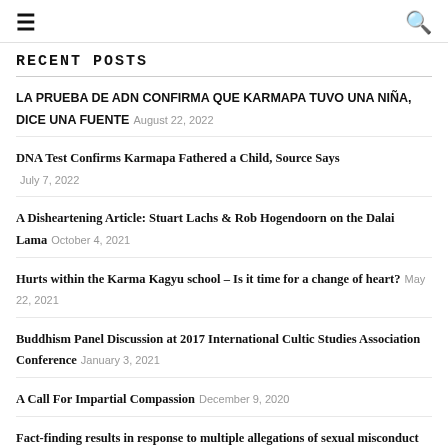≡  🔍
RECENT POSTS
LA PRUEBA DE ADN CONFIRMA QUE KARMAPA TUVO UNA NIÑA, DICE UNA FUENTE  August 22, 2022
DNA Test Confirms Karmapa Fathered a Child, Source Says  July 7, 2022
A Disheartening Article: Stuart Lachs & Rob Hogendoorn on the Dalai Lama  October 4, 2021
Hurts within the Karma Kagyu school – Is it time for a change of heart?  May 22, 2021
Buddhism Panel Discussion at 2017 International Cultic Studies Association Conference  January 3, 2021
A Call For Impartial Compassion  December 9, 2020
Fact-finding results in response to multiple allegations of sexual misconduct by Dagri Rinpoche  November 17, 2020
Expressions of Whiteness in Buddhism  July 24, 2020